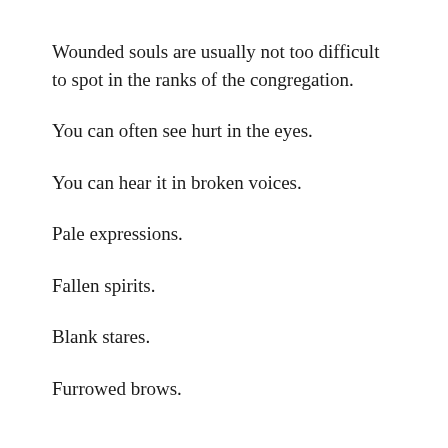Wounded souls are usually not too difficult to spot in the ranks of the congregation.
You can often see hurt in the eyes.
You can hear it in broken voices.
Pale expressions.
Fallen spirits.
Blank stares.
Furrowed brows.